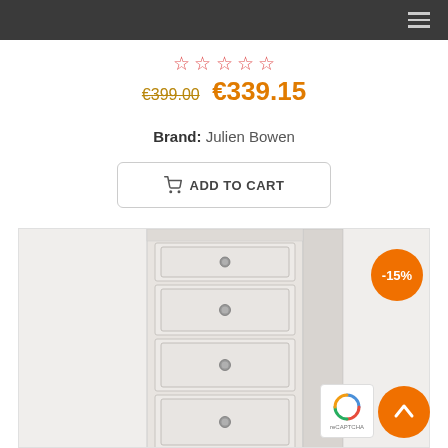[Figure (screenshot): Navigation bar with hamburger menu icon on dark background]
★★★★★ (star rating, 5 empty red stars)
€399.00  €339.15
Brand: Julien Bowen
ADD TO CART
[Figure (photo): White chest of drawers / tall narrow dresser with 3 visible drawers with round knobs, shown against white background. An orange -15% discount badge is shown in the top right corner.]